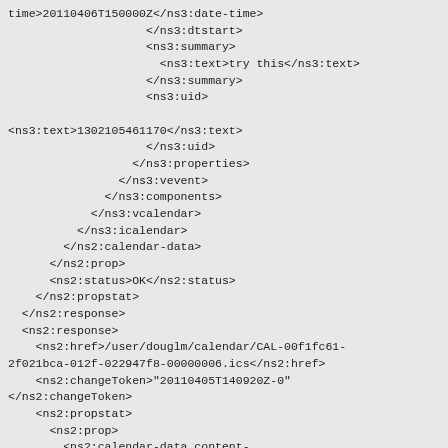time>20110406T150000Z</ns3:date-time>
                    </ns3:dtstart>
                    <ns3:summary>
                      <ns3:text>try this</ns3:text>
                    </ns3:summary>
                    <ns3:uid>

<ns3:text>1302105461170</ns3:text>
                    </ns3:uid>
                  </ns3:properties>
                </ns3:vevent>
              </ns3:components>
            </ns3:vcalendar>
          </ns3:icalendar>
        </ns2:calendar-data>
      </ns2:prop>
      <ns2:status>OK</ns2:status>
    </ns2:propstat>
  </ns2:response>
  <ns2:response>
    <ns2:href>/user/douglm/calendar/CAL-00f1fc61-
2f021bca-012f-022947f8-00000006.ics</ns2:href>
    <ns2:changeToken>"20110405T140920Z-0"
</ns2:changeToken>
    <ns2:propstat>
      <ns2:prop>
        <ns2:calendar-data content-
type="application/xml+calendar" version="2.0">
          <ns3:icalendar>
            <ns3:vcalendar>
              <ns3:properties>
                <ns3:prodid>
                  <ns3:text>//Bedework.org//BedeWork
V3.7//EN</ns3:text>
                </ns3:prodid>
                <ns3:version>
                  <ns3:text>2.0</ns3:text>